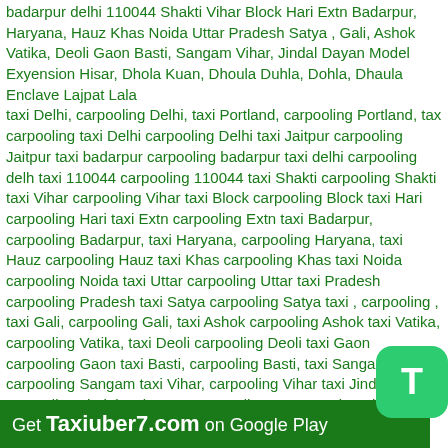badarpur delhi 110044 Shakti Vihar Block Hari Extn Badarpur, Haryana, Hauz Khas Noida Uttar Pradesh Satya , Gali, Ashok Vatika, Deoli Gaon Basti, Sangam Vihar, Jindal Dayan Model Exyension Hisar, Dhola Kuan, Dhoula Duhla, Dohla, Dhaula Enclave Lajpat Lala taxi Delhi, carpooling Delhi, taxi Portland, carpooling Portland, taxi carpooling taxi Delhi carpooling Delhi taxi Jaitpur carpooling Jaitpur taxi badarpur carpooling badarpur taxi delhi carpooling delhi taxi 110044 carpooling 110044 taxi Shakti carpooling Shakti taxi Vihar carpooling Vihar taxi Block carpooling Block taxi Hari carpooling Hari taxi Extn carpooling Extn taxi Badarpur, carpooling Badarpur, taxi Haryana, carpooling Haryana, taxi Hauz carpooling Hauz taxi Khas carpooling Khas taxi Noida carpooling Noida taxi Uttar carpooling Uttar taxi Pradesh carpooling Pradesh taxi Satya carpooling Satya taxi , carpooling , taxi Gali, carpooling Gali, taxi Ashok carpooling Ashok taxi Vatika, carpooling Vatika, taxi Deoli carpooling Deoli taxi Gaon carpooling Gaon taxi Basti, carpooling Basti, taxi Sangam carpooling Sangam taxi Vihar, carpooling Vihar taxi Jindal carpooling Jindal taxi Dayan carpooling Dayan taxi Model carpooling Model taxi Exyension carpooling Exyension taxi Hisar, carpooling Hisar, taxi Dhola carpooling Dhola taxi Kuan, carpooling Kuan, taxi Dhoula carpooling Dhoula taxi Duhla, carpooling Duhla, taxi Dohla, carpooling Dohla, taxi Dhaula carpooling Dhaula Enclave taxi Lajpat carpooling Lajpat taxi Lala carpooling Lala taxi carpooling you can
[Figure (other): Green rounded square icon with white letter T - Taxiuber7 app icon]
Get Taxiuber7.com on Google Play